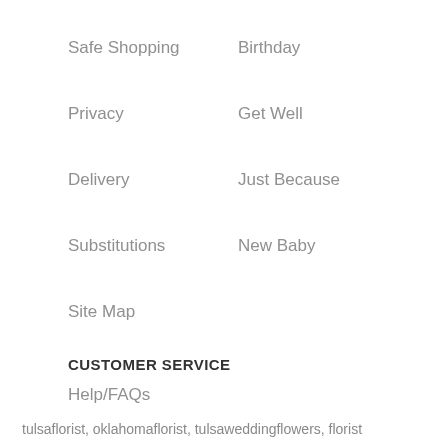Safe Shopping
Birthday
Privacy
Get Well
Delivery
Just Because
Substitutions
New Baby
Site Map
CUSTOMER SERVICE
Help/FAQs
tulsaflorist, oklahomaflorist, tulsaweddingflowers, florist